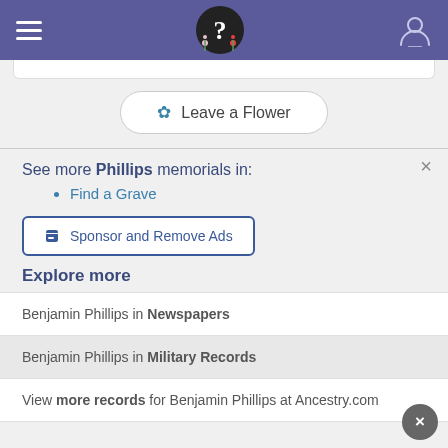Navigation bar with hamburger menu, logo with question mark, and user icon
[Figure (screenshot): Leave a Flower button with flower icon]
See more Phillips memorials in:
Find a Grave
Sponsor and Remove Ads
Explore more
Benjamin Phillips in Newspapers
Benjamin Phillips in Military Records
View more records for Benjamin Phillips at Ancestry.com